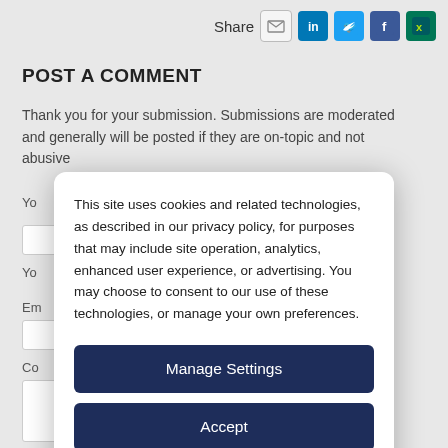Share
POST A COMMENT
Thank you for your submission. Submissions are moderated and generally will be posted if they are on-topic and not abusive
[Figure (other): Cookie consent overlay dialog with text about cookies and three buttons: Manage Settings, Accept, Decline All]
This site uses cookies and related technologies, as described in our privacy policy, for purposes that may include site operation, analytics, enhanced user experience, or advertising. You may choose to consent to our use of these technologies, or manage your own preferences.
Manage Settings
Accept
Decline All